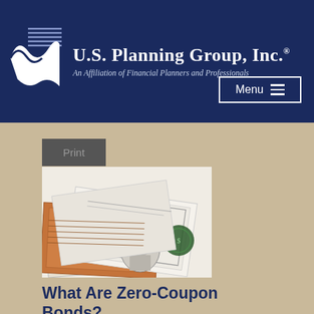U.S. Planning Group, Inc. — An Affiliation of Financial Planners and Professionals
[Figure (photo): Photo of old bonds/financial certificates scattered on a surface]
What Are Zero-Coupon Bonds?